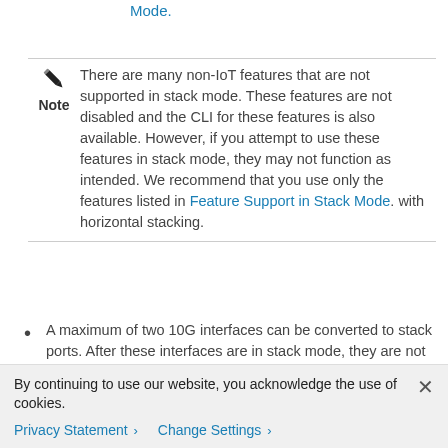Mode.
There are many non-IoT features that are not supported in stack mode. These features are not disabled and the CLI for these features is also available. However, if you attempt to use these features in stack mode, they may not function as intended. We recommend that you use only the features listed in Feature Support in Stack Mode. with horizontal stacking.
A maximum of two 10G interfaces can be converted to stack ports. After these interfaces are in stack mode, they are not available for normal network operation and do not appear in an interface listing such as show interface status
By continuing to use our website, you acknowledge the use of cookies.
Privacy Statement > Change Settings >